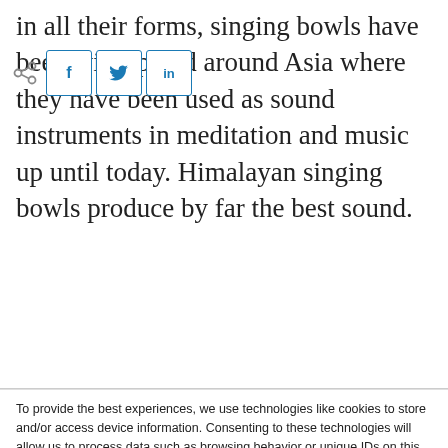in all their forms, singing bowls have been widespread around Asia where they have been used as sound instruments in meditation and music up until today. Himalayan singing bowls produce by far the best sound.
[Figure (other): Social share bar with Facebook, Twitter, and LinkedIn buttons]
To provide the best experiences, we use technologies like cookies to store and/or access device information. Consenting to these technologies will allow us to process data such as browsing behavior or unique IDs on this site. Not consenting or withdrawing consent, may adversely affect certain features and functions.
Accept
View preferences